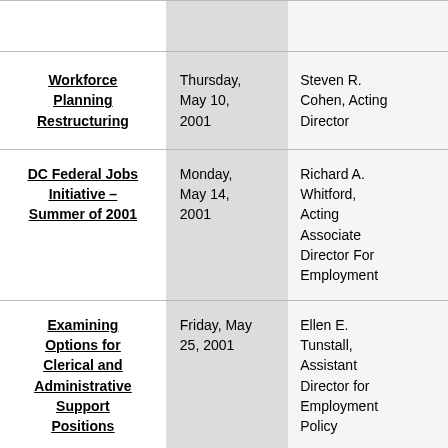| Workforce Planning Restructuring | Thursday, May 10, 2001 | Steven R. Cohen, Acting Director |
| DC Federal Jobs Initiative – Summer of 2001 | Monday, May 14, 2001 | Richard A. Whitford, Acting Associate Director For Employment |
| Examining Options for Clerical and Administrative Support Positions | Friday, May 25, 2001 | Ellen E. Tunstall, Assistant Director for Employment Policy |
| Survey on | Thursday, | Donald J. |